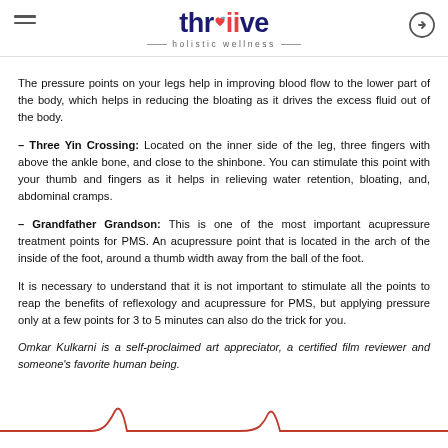thriive holistic wellness
The pressure points on your legs help in improving blood flow to the lower part of the body, which helps in reducing the bloating as it drives the excess fluid out of the body.
– Three Yin Crossing: Located on the inner side of the leg, three fingers with above the ankle bone, and close to the shinbone. You can stimulate this point with your thumb and fingers as it helps in relieving water retention, bloating, and, abdominal cramps.
– Grandfather Grandson: This is one of the most important acupressure treatment points for PMS. An acupressure point that is located in the arch of the inside of the foot, around a thumb width away from the ball of the foot.
It is necessary to understand that it is not important to stimulate all the points to reap the benefits of reflexology and acupressure for PMS, but applying pressure only at a few points for 3 to 5 minutes can also do the trick for you.
Omkar Kulkarni is a self-proclaimed art appreciator, a certified film reviewer and someone's favorite human being.
[Figure (illustration): Red decorative wave/heartbeat line footer graphic]